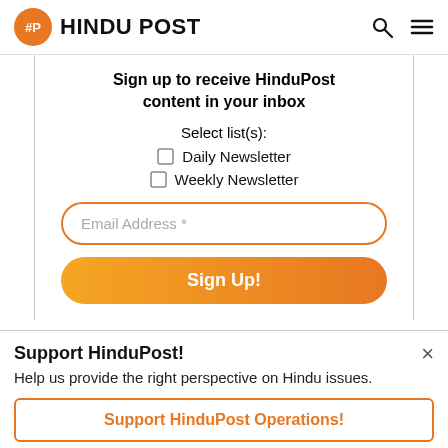Hindu Post
Sign up to receive HinduPost content in your inbox
Select list(s):
Daily Newsletter
Weekly Newsletter
Email Address *
Sign Up!
Support HinduPost!
Help us provide the right perspective on Hindu issues.
Support HinduPost Operations!